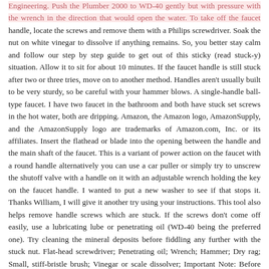Engineering. Push the Plumber 2000 to WD-40 gently but with pressure with the wrench in the direction that would open the water. To take off the faucet handle, locate the screws and remove them with a Philips screwdriver. Soak the nut on white vinegar to dissolve if anything remains. So, you better stay calm and follow our step by step guide to get out of this sticky (read stuck-y) situation. Allow it to sit for about 10 minutes. If the faucet handle is still stuck after two or three tries, move on to another method. Handles aren't usually built to be very sturdy, so be careful with your hammer blows. A single-handle ball-type faucet. I have two faucet in the bathroom and both have stuck set screws in the hot water, both are dripping. Amazon, the Amazon logo, AmazonSupply, and the AmazonSupply logo are trademarks of Amazon.com, Inc. or its affiliates. Insert the flathead or blade into the opening between the handle and the main shaft of the faucet. This is a variant of power action on the faucet with a round handle alternatively you can use a car puller or simply try to unscrew the shutoff valve with a handle on it with an adjustable wrench holding the key on the faucet handle. I wanted to put a new washer to see if that stops it. Thanks William, I will give it another try using your instructions. This tool also helps remove handle screws which are stuck. If the screws don't come off easily, use a lubricating lube or penetrating oil (WD-40 being the preferred one). Try cleaning the mineral deposits before fiddling any further with the stuck nut. Flat-head screwdriver; Penetrating oil; Wrench; Hammer; Dry rag; Small, stiff-bristle brush; Vinegar or scale dissolver; Important Note: Before you begin working to loosen a stuck faucet handle with any of these